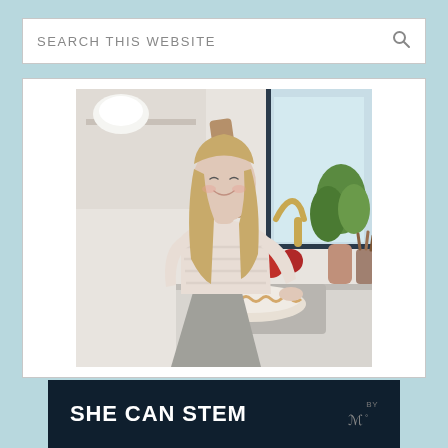SEARCH THIS WEBSITE
[Figure (photo): Woman with long blonde hair in a light pink striped sweater and gray skirt, smiling while working with a pie dish at a bright white kitchen counter. Gold faucet, red apples, and greenery visible in background.]
SHE CAN STEM